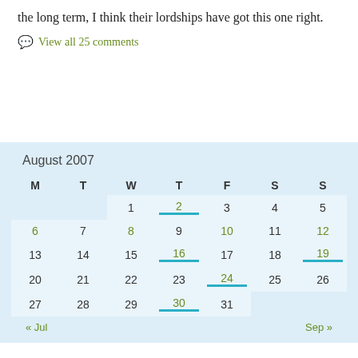the long term, I think their lordships have got this one right.
View all 25 comments
| M | T | W | T | F | S | S |
| --- | --- | --- | --- | --- | --- | --- |
|  |  | 1 | 2 | 3 | 4 | 5 |
| 6 | 7 | 8 | 9 | 10 | 11 | 12 |
| 13 | 14 | 15 | 16 | 17 | 18 | 19 |
| 20 | 21 | 22 | 23 | 24 | 25 | 26 |
| 27 | 28 | 29 | 30 | 31 |  |  |